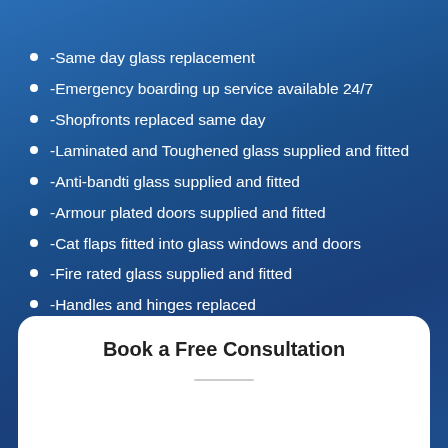-Same day glass replacement
-Emergency boarding up service available 24/7
-Shopfronts replaced same day
-Laminated and Toughened glass supplied and fitted
-Anti-bandti glass supplied and fitted
-Armour plated doors supplied and fitted
-Cat flaps fitted into glass windows and doors
-Fire rated glass supplied and fitted
-Handles and hinges replaced
-Mirrors supplied and fitted
Book a Free Consultation